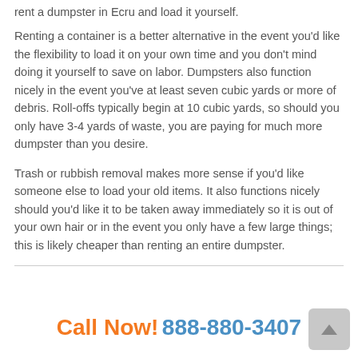rent a dumpster in Ecru and load it yourself.
Renting a container is a better alternative in the event you'd like the flexibility to load it on your own time and you don't mind doing it yourself to save on labor. Dumpsters also function nicely in the event you've at least seven cubic yards or more of debris. Roll-offs typically begin at 10 cubic yards, so should you only have 3-4 yards of waste, you are paying for much more dumpster than you desire.
Trash or rubbish removal makes more sense if you'd like someone else to load your old items. It also functions nicely should you'd like it to be taken away immediately so it is out of your own hair or in the event you only have a few large things; this is likely cheaper than renting an entire dumpster.
Call Now! 888-880-3407